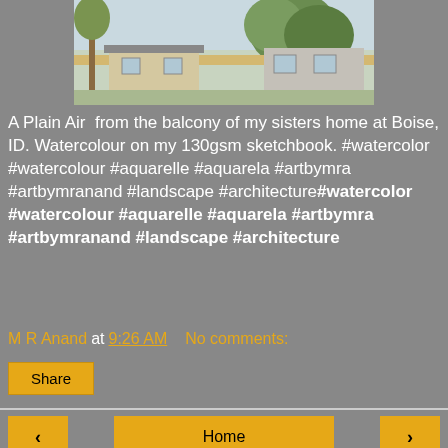[Figure (illustration): Watercolour painting of a house with trees, viewed from a balcony in Boise, ID]
A Plain Air  from the balcony of my sisters home at Boise, ID. Watercolour on my 130gsm sketchbook. #watercolor #watercolour #aquarelle #aquarela #artbymra #artbymranand #landscape #architecture#watercolor #watercolour #aquarelle #aquarela #artbymra #artbymranand #landscape #architecture
M R Anand at 9:26 AM     No comments:
Share
Home
View web version
About Me
M R Anand
View my complete profile